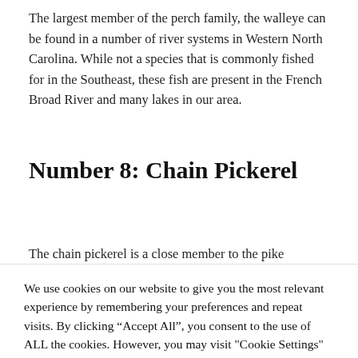The largest member of the perch family, the walleye can be found in a number of river systems in Western North Carolina. While not a species that is commonly fished for in the Southeast, these fish are present in the French Broad River and many lakes in our area.
Number 8: Chain Pickerel
The chain pickerel is a close member to the pike
We use cookies on our website to give you the most relevant experience by remembering your preferences and repeat visits. By clicking “Accept All”, you consent to the use of ALL the cookies. However, you may visit "Cookie Settings" to provide a controlled consent.